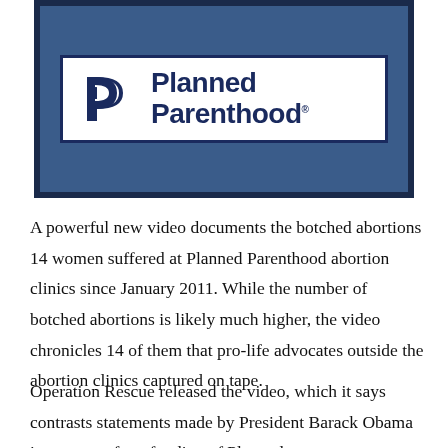[Figure (photo): Planned Parenthood sign/logo on a blue background — white rectangular sign with navy border showing the Planned Parenthood logo (stylized P icon) and the text 'Planned Parenthood']
A powerful new video documents the botched abortions 14 women suffered at Planned Parenthood abortion clinics since January 2011. While the number of botched abortions is likely much higher, the video chronicles 14 of them that pro-life advocates outside the abortion clinics captured on tape.
Operation Rescue released the video, which it says contrasts statements made by President Barack Obama in support of tax funding of Planned